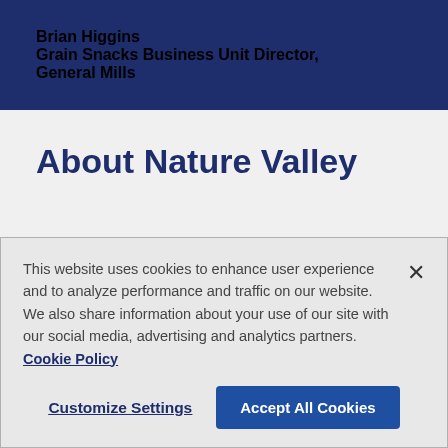Brian Higgins
Grain Snacks Business Unit Director, General Mills
About Nature Valley
This website uses cookies to enhance user experience and to analyze performance and traffic on our website. We also share information about your use of our site with our social media, advertising and analytics partners. Cookie Policy
Customize Settings
Accept All Cookies